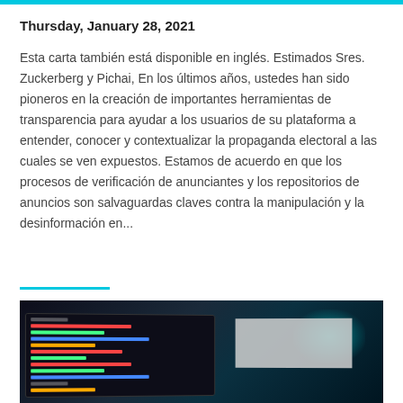Thursday, January 28, 2021
Esta carta también está disponible en inglés. Estimados Sres. Zuckerberg y Pichai, En los últimos años, ustedes han sido pioneros en la creación de importantes herramientas de transparencia para ayudar a los usuarios de su plataforma a entender, conocer y contextualizar la propaganda electoral a las cuales se ven expuestos. Estamos de acuerdo en que los procesos de verificación de anunciantes y los repositorios de anuncios son salvaguardas claves contra la manipulación y la desinformación en...
[Figure (photo): Dark photograph of a computer monitor displaying code with colorful terminal text (red, green) on a dark background, with a bright teal/cyan glow in the upper right corner, and a secondary lighter panel visible to the right.]